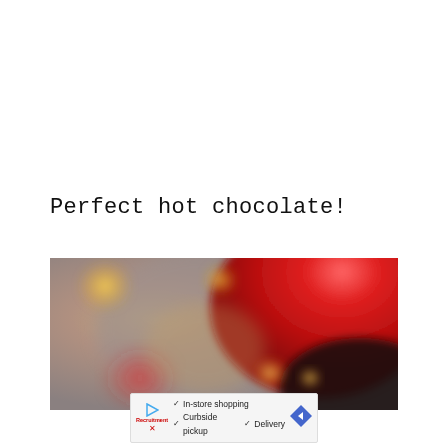Perfect hot chocolate!
[Figure (photo): Blurred bokeh photo showing a red ornament ball and warm golden bokeh lights against a grey background, suggesting a holiday/Christmas hot chocolate scene]
[Figure (infographic): Advertisement banner for a store showing play button icon, brand logo in red, checkmark icons with text: In-store shopping, Curbside pickup, Delivery, and a blue diamond-shaped arrow icon on the right]